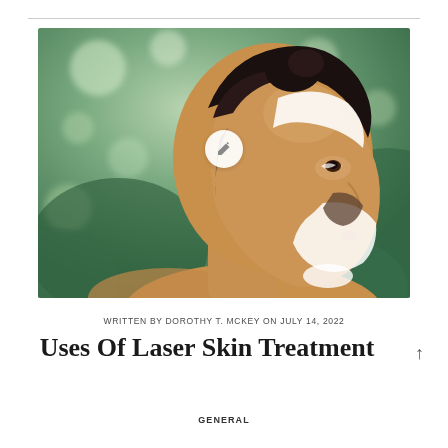[Figure (photo): Woman with face mask applied (white and dark clay mask) in profile view against blurred green garden/foliage background, bare shoulders, hair in bun. A small circular white edit button with pencil icon overlaps the bottom center of the photo.]
WRITTEN BY DOROTHY T. MCKEY ON JULY 14, 2022
Uses Of Laser Skin Treatment
GENERAL